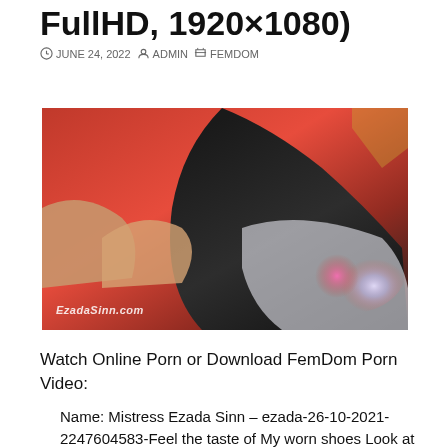FullHD, 1920×1080)
JUNE 24, 2022  ADMIN  FEMDOM
[Figure (photo): Close-up photo of a red high-heel shoe held up, with watermark EzadaSinn.com at the bottom left]
Watch Online Porn or Download FemDom Porn Video:
Name: Mistress Ezada Sinn – ezada-26-10-2021-2247604583-Feel the taste of My worn shoes Look at